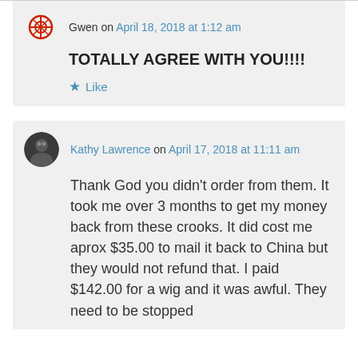Gwen on April 18, 2018 at 1:12 am
TOTALLY AGREE WITH YOU!!!!
Like
Kathy Lawrence on April 17, 2018 at 11:11 am
Thank God you didn't order from them. It took me over 3 months to get my money back from these crooks. It did cost me aprox $35.00 to mail it back to China but they would not refund that. I paid $142.00 for a wig and it was awful. They need to be stopped